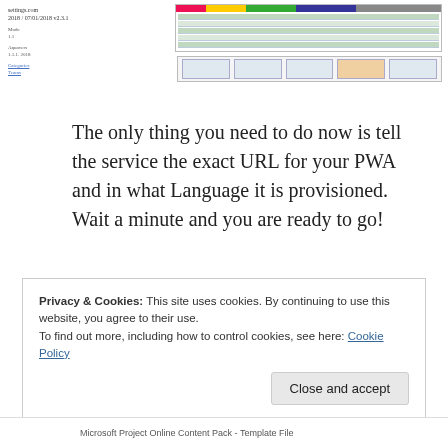[Figure (screenshot): Screenshot of a project dashboard with colored bar chart at top and green table rows below]
[Figure (screenshot): Screenshot of toolbar/ribbon interface with various controls]
The only thing you need to do now is tell the service the exact URL for your PWA and in what Language it is provisioned. Wait a minute and you are ready to go!
The other version, the one that I would advise you to use, is located at Git.Hub. It is especially useful if you want to customize the reports and dashboard, more on that later.
Privacy & Cookies: This site uses cookies. By continuing to use this website, you agree to their use.
To find out more, including how to control cookies, see here: Cookie Policy
Close and accept
Microsoft Project Online Content Pack - Template File